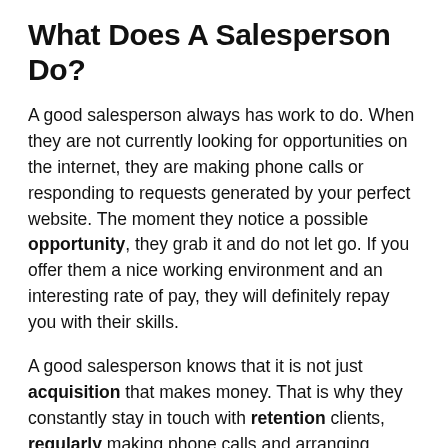What Does A Salesperson Do?
A good salesperson always has work to do. When they are not currently looking for opportunities on the internet, they are making phone calls or responding to requests generated by your perfect website. The moment they notice a possible opportunity, they grab it and do not let go. If you offer them a nice working environment and an interesting rate of pay, they will definitely repay you with their skills.
A good salesperson knows that it is not just acquisition that makes money. That is why they constantly stay in touch with retention clients, regularly making phone calls and arranging meetings with them. They inform the clients about discounts, promotions, and bonuses for long-term cooperation.